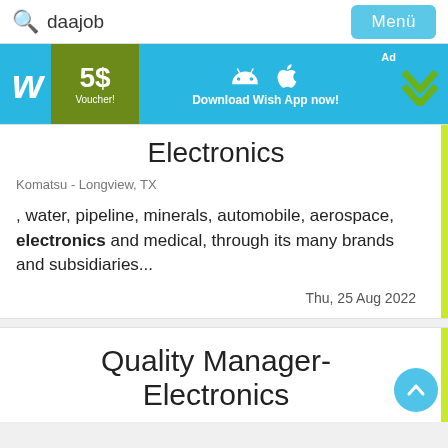Q daajob   Menü
[Figure (infographic): Wish app advertisement banner: W logo, 5$ Voucher!, Android and Apple icons, Download Wish App now!, Ad badge, green chevron]
Electronics
Komatsu - Longview, TX
, water, pipeline, minerals, automobile, aerospace, electronics and medical, through its many brands and subsidiaries...
Thu, 25 Aug 2022
Quality Manager- Electronics